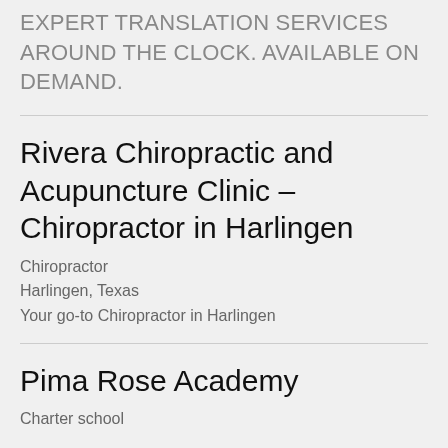EXPERT TRANSLATION SERVICES AROUND THE CLOCK. AVAILABLE ON DEMAND.
Rivera Chiropractic and Acupuncture Clinic – Chiropractor in Harlingen
Chiropractor
Harlingen, Texas
Your go-to Chiropractor in Harlingen
Pima Rose Academy
Charter school